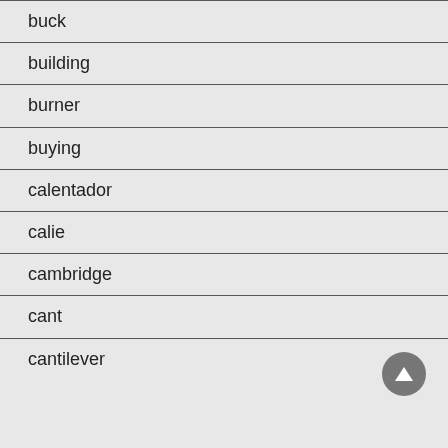buck
building
burner
buying
calentador
calie
cambridge
cant
cantilever